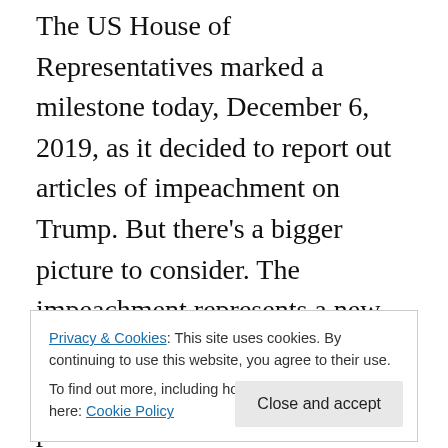The US House of Representatives marked a milestone today, December 6, 2019, as it decided to report out articles of impeachment on Trump. But there's a bigger picture to consider. The impeachment represents a new stage in the political 'food fight' between the two wings of the political-economic elite in the USA. It also represents a further escalation in the crisis and decline of American Democracy–a decline that's been going on since at least the early 1990s, when Newt Gingrich and the radical right took over the House of Representatives and declared publicly that their objective was to create a dysfunctional
Privacy & Cookies: This site uses cookies. By continuing to use this website, you agree to their use.
To find out more, including how to control cookies, see here: Cookie Policy
corresponds to the rise of Neoliberal economic policies in